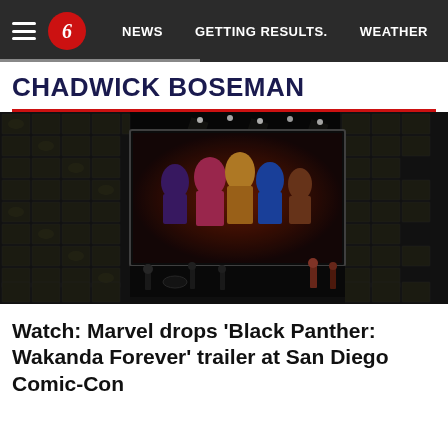NEWS   GETTING RESULTS.   WEATHER
CHADWICK BOSEMAN
[Figure (photo): A large Comic-Con stage with a huge display screen showing Marvel Black Panther characters, surrounded by Comic-Con logo panels, performers on stage, dark auditorium setting.]
Watch: Marvel drops ‘Black Panther: Wakanda Forever’ trailer at San Diego Comic-Con